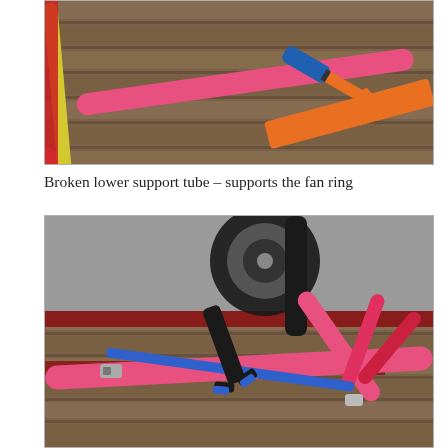[Figure (photo): Close-up photo of broken support tube (pink and yellow tubes) on wooden deck with orange bolt cutters/pliers nearby.]
Broken lower support tube – supports the fan ring
[Figure (photo): Photo of pink tube assembly on wooden deck with wheel visible, blue strap, and bolt cutters cutting a connection point.]